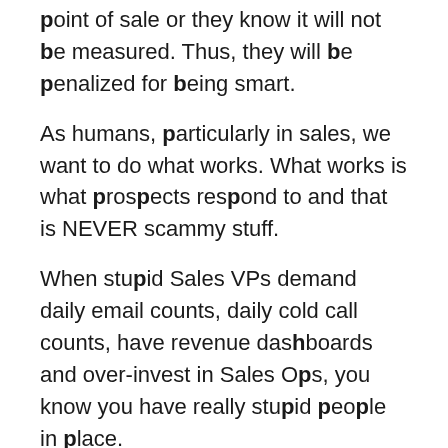point of sale or they know it will not be measured. Thus, they will be penalized for being smart.
As humans, particularly in sales, we want to do what works. What works is what prospects respond to and that is NEVER scammy stuff.
When stupid Sales VPs demand daily email counts, daily cold call counts, have revenue dashboards and over-invest in Sales Ops, you know you have really stupid people in place.
Thus, you, the sales rep cannot do the human